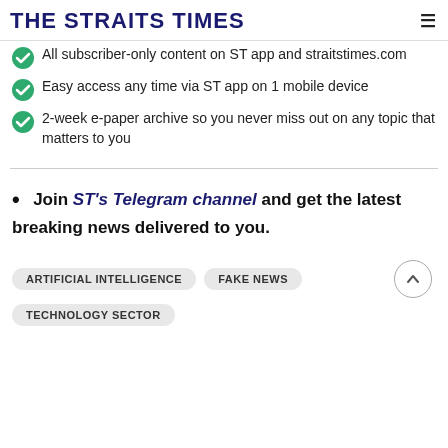THE STRAITS TIMES
All subscriber-only content on ST app and straitstimes.com
Easy access any time via ST app on 1 mobile device
2-week e-paper archive so you never miss out on any topic that matters to you
Join ST's Telegram channel and get the latest breaking news delivered to you.
ARTIFICIAL INTELLIGENCE
FAKE NEWS
TECHNOLOGY SECTOR